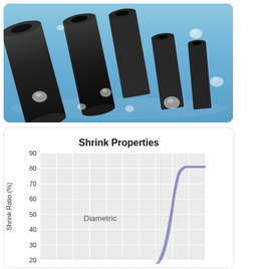[Figure (photo): Photo of black heat shrink tubes of various sizes lying on a blue reflective surface with water droplets]
[Figure (continuous-plot): Line chart showing Shrink Ratio (%) on y-axis from 20 to 90, with a curve labeled 'Diametric' that starts near 0, remains flat at low values, then rises sharply around the 6th column to about 80% and levels off. The curve is shown as a thick purple/blue band indicating a range.]